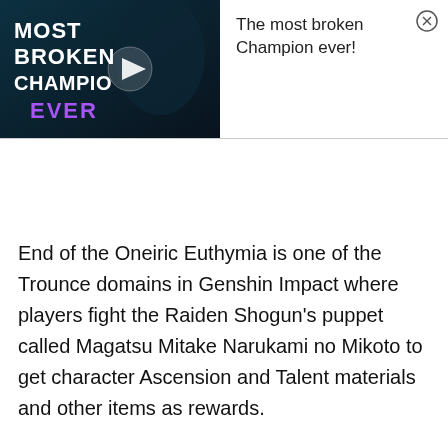[Figure (screenshot): Ad banner showing a League of Legends video thumbnail with text 'MOST BROKEN CHAMPION EVER' and a play button icon, alongside an ad text panel saying 'The most broken Champion ever!' with a close button]
End of the Oneiric Euthymia is one of the Trounce domains in Genshin Impact where players fight the Raiden Shogun's puppet called Magatsu Mitake Narukami no Mikoto to get character Ascension and Talent materials and other items as rewards.